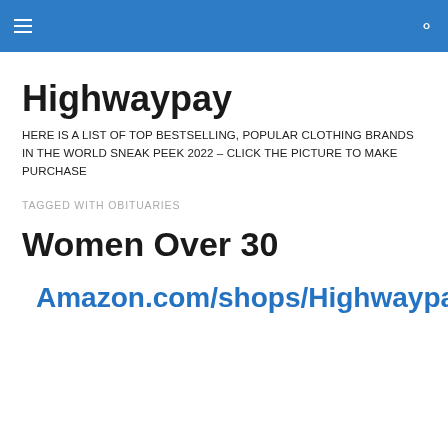Highwaypay [navigation header with hamburger menu and search icon]
Highwaypay
HERE IS A LIST OF TOP BESTSELLING, POPULAR CLOTHING BRANDS IN THE WORLD SNEAK PEEK 2022 – CLICK THE PICTURE TO MAKE PURCHASE
TAGGED WITH OBITUARIES
Women Over 30
Amazon.com/shops/Highwaypay